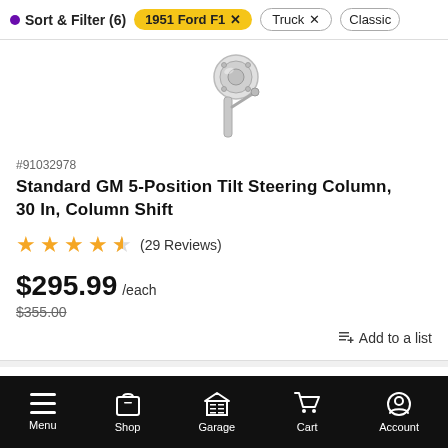Sort & Filter (6)  1951 Ford F1 ×  Truck ×  Classic
[Figure (photo): Partial view of a chrome steering column product against white background]
#91032978
Standard GM 5-Position Tilt Steering Column, 30 In, Column Shift
★★★★½ (29 Reviews)
$295.99 /each
$355.00
Add to a list
Menu  Shop  Garage  Cart  Account